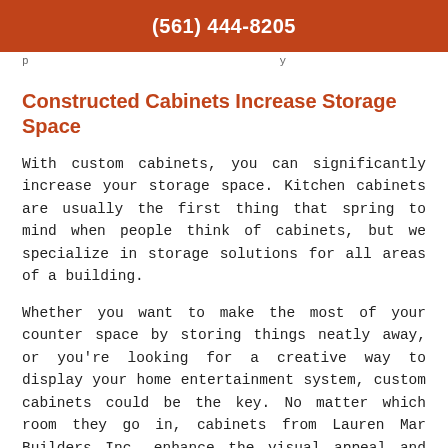(561) 444-8205
p...
Constructed Cabinets Increase Storage Space
With custom cabinets, you can significantly increase your storage space. Kitchen cabinets are usually the first thing that spring to mind when people think of cabinets, but we specialize in storage solutions for all areas of a building.
Whether you want to make the most of your counter space by storing things neatly away, or you’re looking for a creative way to display your home entertainment system, custom cabinets could be the key. No matter which room they go in, cabinets from Lauren Mar Builders Inc. enhance the visual appeal and functionality of a space, allowing you to make the most of it.